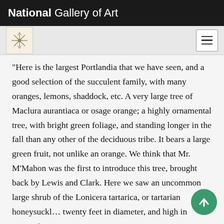National Gallery of Art
"Here is the largest Portlandia that we have seen, and a good selection of the succulent family, with many oranges, lemons, shaddock, etc. A very large tree of Maclura aurantiaca or osage orange; a highly ornamental tree, with bright green foliage, and standing longer in the fall than any other of the deciduous tribe. It bears a large green fruit, not unlike an orange. We think that Mr. M’Mahon was the first to introduce this tree, brought back by Lewis and Clark. Here we saw an uncommon large shrub of the Lonicera tartarica, or tartarian honeysuckle, twenty feet in diameter, and high in proportion.